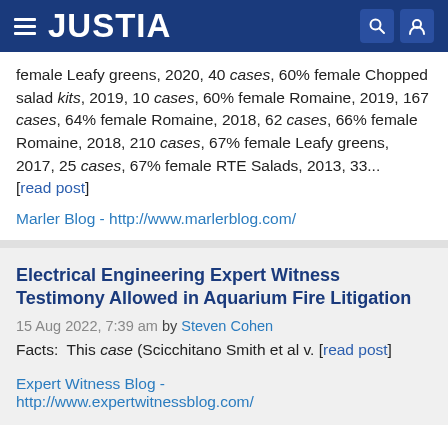JUSTIA
female Leafy greens, 2020, 40 cases, 60% female Chopped salad kits, 2019, 10 cases, 60% female Romaine, 2019, 167 cases, 64% female Romaine, 2018, 62 cases, 66% female Romaine, 2018, 210 cases, 67% female Leafy greens, 2017, 25 cases, 67% female RTE Salads, 2013, 33... [read post]
Marler Blog - http://www.marlerblog.com/
Electrical Engineering Expert Witness Testimony Allowed in Aquarium Fire Litigation
15 Aug 2022, 7:39 am by Steven Cohen
Facts:  This case (Scicchitano Smith et al v. [read post]
Expert Witness Blog - http://www.expertwitnessblog.com/